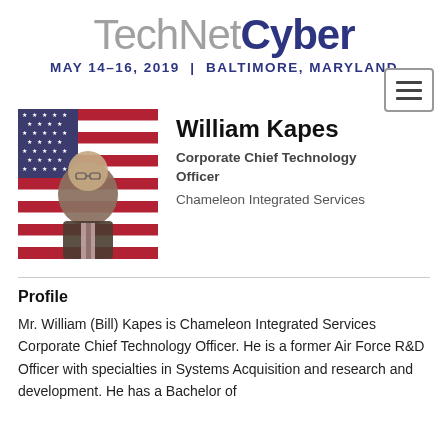TechNetCyber MAY 14–16, 2019 | BALTIMORE, MARYLAND
[Figure (photo): Photo of William Kapes in front of an American flag]
William Kapes
Corporate Chief Technology Officer
Chameleon Integrated Services
Profile
Mr. William (Bill) Kapes is Chameleon Integrated Services Corporate Chief Technology Officer. He is a former Air Force R&D Officer with specialties in Systems Acquisition and research and development. He has a Bachelor of